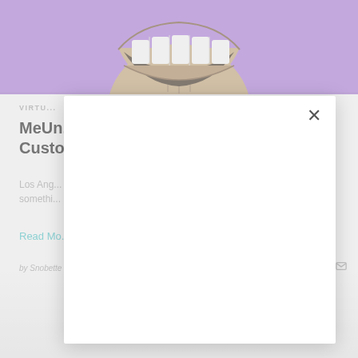[Figure (illustration): Cartoon illustration of a wide-grinning bored ape NFT character with large teeth, on a purple background. Only the upper portion (mouth and lower face) is visible, cropped at the top of the image.]
VIRTU...
MeUn... Custo...
Los Ang... somethi...
Read Mo...
by Snobette on February 7, 2022
SHARE
[Figure (screenshot): A modal dialog box (white card with drop shadow) overlaid on the page content, with an X close button in the upper right corner. The modal body is empty/blank white.]